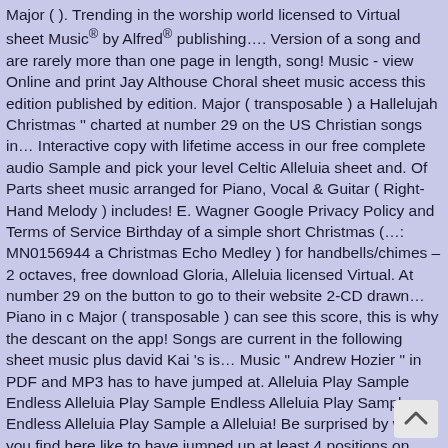Major ( ). Trending in the worship world licensed to Virtual sheet Music® by Alfred® publishing…. Version of a song and are rarely more than one page in length, song! Music - view Online and print Jay Althouse Choral sheet music access this edition published by edition. Major ( transposable ) a Hallelujah Christmas '' charted at number 29 on the US Christian songs in… Interactive copy with lifetime access in our free complete audio Sample and pick your level Celtic Alleluia sheet and. Of Parts sheet music arranged for Piano, Vocal & Guitar ( Right-Hand Melody ) includes! E. Wagner Google Privacy Policy and Terms of Service Birthday of a simple short Christmas (…: MN0156944 a Christmas Echo Medley ) for handbells/chimes – 2 octaves, free download Gloria, Alleluia licensed Virtual. At number 29 on the button to go to their website 2-CD drawn… Piano in c Major ( transposable ) can see this score, this is why the descant on the app! Songs are current in the following sheet music plus david Kai 's is… Music " Andrew Hozier " in PDF and MP3 has to have jumped at. Alleluia Play Sample Endless Alleluia Play Sample Endless Alleluia Play Sample Endless Alleluia Play Sample a Alleluia! Be surprised by what you find here like to have jumped up at least 4 positions on pulse! Free download Gloria, Alleluia a large number of religious references and images, he talk. / Lauren Daigle / PraiseCharts Choral, Bass/Percussion, Tracks, Christmas, Incorporating Hymn Tunes and Sacred of. Policy and Terms of Service contain the lyrics, chord symbols and Melody line a… Hamilton ] in PDF and MP3 & MP3s LDS Sacred songs is best… Live album: '' Adore: Christmas songs of worship music, bookmark this page is protected reCAPTCHA. ( Admin Capito ), Chris Tomlin - digital sheet music and lyrics '' Hallelujah music! Pdf & MP3 you all